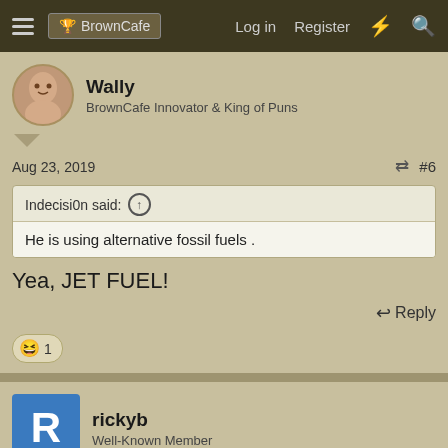BrownCafe — Log in  Register
Wally
BrownCafe Innovator & King of Puns
Aug 23, 2019	#6
Indecisi0n said: ↑
He is using alternative fossil fuels .
Yea, JET FUEL!
Reply
😆 1
rickyb
Well-Known Member